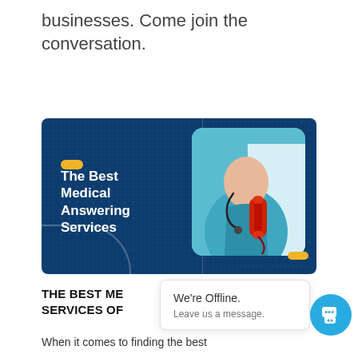businesses. Come join the conversation.
[Figure (illustration): Dark blue banner with yellow accent pill, bold white text reading 'The Best Medical Answering Services', and a photo of a medical professional in teal scrubs holding a red telephone handset with a stethoscope around their neck.]
THE BEST ME... SERVICES OF...
When it comes to finding the best
We're Offline. Leave us a message.